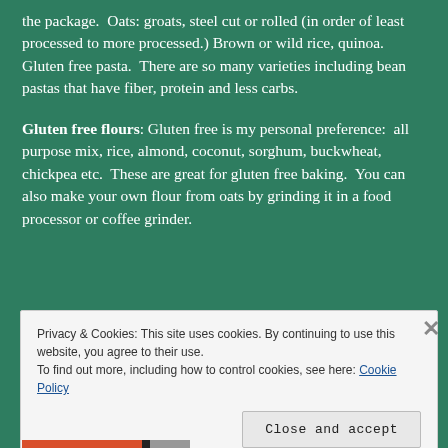the package.  Oats: groats, steel cut or rolled (in order of least processed to more processed.) Brown or wild rice, quinoa. Gluten free pasta.  There are so many varieties including bean pastas that have fiber, protein and less carbs.
Gluten free flours: Gluten free is my personal preference:  all purpose mix, rice, almond, coconut, sorghum, buckwheat, chickpea etc.  These are great for gluten free baking.  You can also make your own flour from oats by grinding it in a food processor or coffee grinder.
Privacy & Cookies: This site uses cookies. By continuing to use this website, you agree to their use.
To find out more, including how to control cookies, see here: Cookie Policy